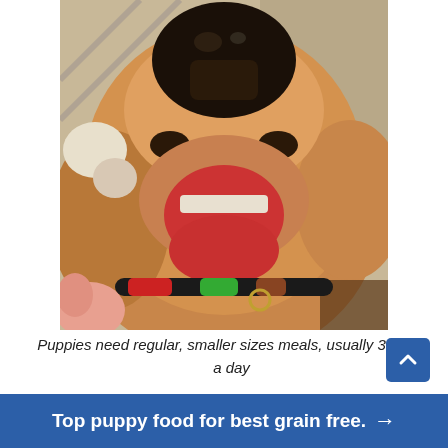[Figure (photo): Close-up photo of a golden retriever dog with mouth open, wearing a colorful collar (red, green, black), looking up at the camera from below. A pink hand is visible in the lower left. The dog is on a carpet background.]
Puppies need regular, smaller sizes meals, usually 3 times a day
Top puppy food for best grain free. →